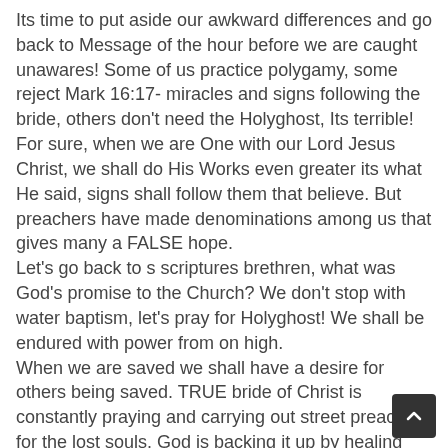Its time to put aside our awkward differences and go back to Message of the hour before we are caught unawares! Some of us practice polygamy, some reject Mark 16:17- miracles and signs following the bride, others don't need the Holyghost, Its terrible! For sure, when we are One with our Lord Jesus Christ, we shall do His Works even greater its what He said, signs shall follow them that believe. But preachers have made denominations among us that gives many a FALSE hope. Let's go back to s scriptures brethren, what was God's promise to the Church? We don't stop with water baptism, let's pray for Holyghost! We shall be endured with power from on high. When we are saved we shall have a desire for others being saved. TRUE bride of Christ is constantly praying and carrying out street preaching for the lost souls. God is backing it up by healing HIV/AIDS, the blind seeing, the lame walk again and many gifts and fruits of the Holyghost in the church.